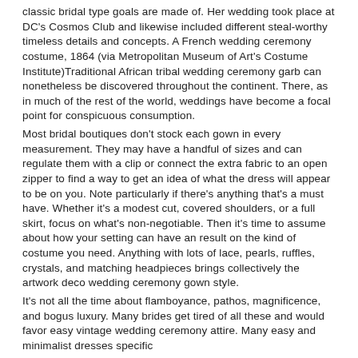classic bridal type goals are made of. Her wedding took place at DC's Cosmos Club and likewise included different steal-worthy timeless details and concepts. A French wedding ceremony costume, 1864 (via Metropolitan Museum of Art's Costume Institute)Traditional African tribal wedding ceremony garb can nonetheless be discovered throughout the continent. There, as in much of the rest of the world, weddings have become a focal point for conspicuous consumption.
Most bridal boutiques don't stock each gown in every measurement. They may have a handful of sizes and can regulate them with a clip or connect the extra fabric to an open zipper to find a way to get an idea of what the dress will appear to be on you. Note particularly if there's anything that's a must have. Whether it's a modest cut, covered shoulders, or a full skirt, focus on what's non-negotiable. Then it's time to assume about how your setting can have an result on the kind of costume you need. Anything with lots of lace, pearls, ruffles, crystals, and matching headpieces brings collectively the artwork deco wedding ceremony gown style.
It's not all the time about flamboyance, pathos, magnificence, and bogus luxury. Many brides get tired of all these and would favor easy vintage wedding ceremony attire. Many easy and minimalist dresses specific